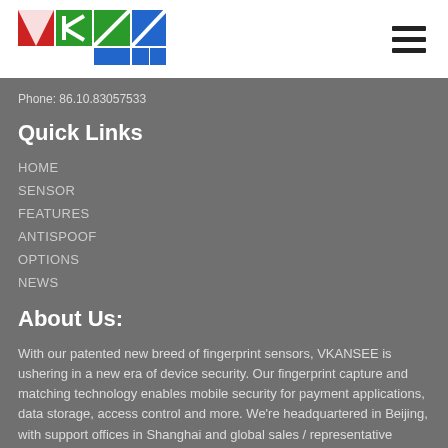[Figure (logo): VKANSEE logo with colorful geometric letter shapes in red, green, and blue]
Phone: 86.10.83057533
Quick Links
HOME
SENSOR
FEATURES
ANTISPOOF
OPTIONS
NEWS
About Us:
With our patented new breed of fingerprint sensors, VKANSEE is ushering in a new era of device security. Our fingerprint capture and matching technology enables mobile security for payment applications, data storage, access control and more. We're headquartered in Beijing, with support offices in Shanghai and global sales / representative offices in New York City.